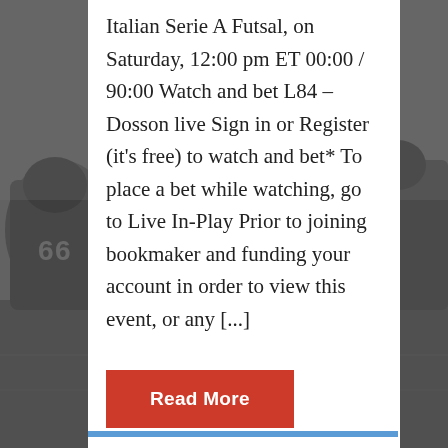[Figure (photo): Black and white photo of American football players on a field, visible on left side and bottom of page as background]
Italian Serie A Futsal, on Saturday, 12:00 pm ET 00:00 / 90:00 Watch and bet L84 – Dosson live Sign in or Register (it's free) to watch and bet* To place a bet while watching, go to Live In-Play Prior to joining bookmaker and funding your account in order to view this event, or any [...]
Read More